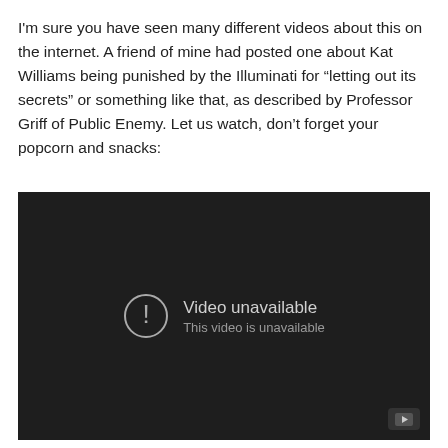I'm sure you have seen many different videos about this on the internet. A friend of mine had posted one about Kat Williams being punished by the Illuminati for “letting out its secrets” or something like that, as described by Professor Griff of Public Enemy. Let us watch, don’t forget your popcorn and snacks:
[Figure (screenshot): Embedded YouTube video player showing 'Video unavailable - This video is unavailable' message on a dark background with a warning icon and YouTube button in the bottom right corner.]